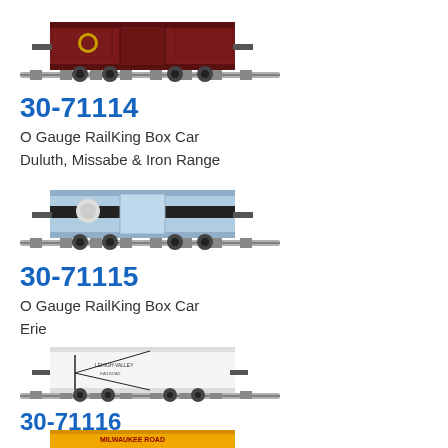[Figure (photo): O Gauge RailKing Box Car model photo - dark red/maroon colored box car on tracks]
30-71114
O Gauge RailKing Box Car
Duluth, Missabe & Iron Range
[Figure (photo): O Gauge RailKing Box Car model photo - light blue box car with black stripe on tracks]
30-71115
O Gauge RailKing Box Car
Erie
[Figure (photo): O Gauge RailKing Box Car model photo - white box car with Lehigh Valley Railroad markings on tracks]
30-71116
O Gauge RailKing Box Car
Lehigh Valley
[Figure (photo): O Gauge RailKing Box Car model photo - yellow/orange Milwaukee Road box car on tracks (partially visible)]